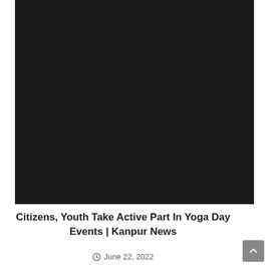[Figure (photo): Large black/dark image, likely a photograph from a Yoga Day event in Kanpur]
Citizens, Youth Take Active Part In Yoga Day Events | Kanpur News
June 22, 2022